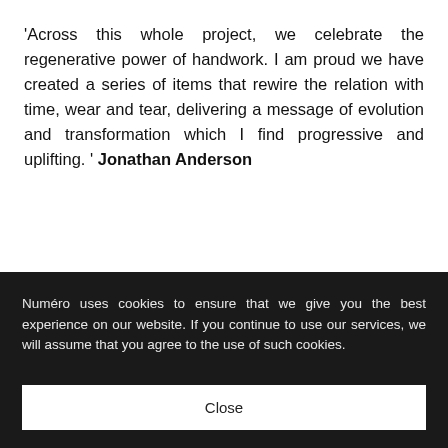'Across this whole project, we celebrate the regenerative power of handwork. I am proud we have created a series of items that rewire the relation with time, wear and tear, delivering a message of evolution and transformation which I find progressive and uplifting. ' Jonathan Anderson
Numéro uses cookies to ensure that we give you the best experience on our website. If you continue to use our services, we will assume that you agree to the use of such cookies.
Close